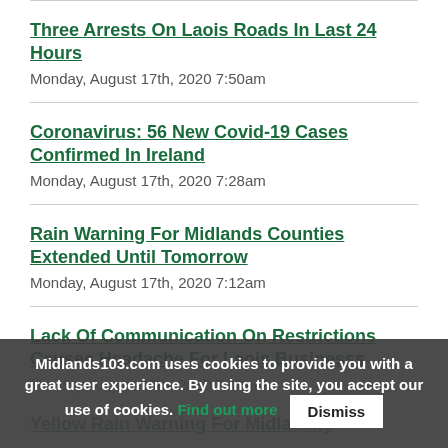Three Arrests On Laois Roads In Last 24 Hours
Monday, August 17th, 2020 7:50am
Coronavirus: 56 New Covid-19 Cases Confirmed In Ireland
Monday, August 17th, 2020 7:28am
Rain Warning For Midlands Counties Extended Until Tomorrow
Monday, August 17th, 2020 7:12am
Lack Of Communication On Restrictions Causes Headache For Laois Businesss
Monday, August 17th, 2020 7:10am
Yellow Rain Warning For Midlands County
Midlands103.com uses cookies to provide you with a great user experience. By using the site, you accept our use of cookies. Find out more
Dismiss